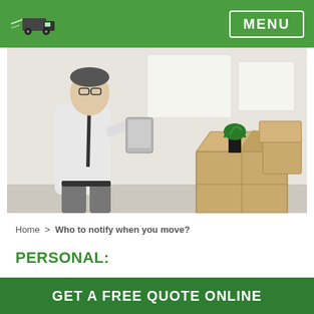MENU
[Figure (photo): A man in a white shirt and tie holding a tablet, standing next to open cardboard moving boxes with a green plant inside one box, in a bright office setting.]
Home > Who to notify when you move?
PERSONAL:
Family
GET A FREE QUOTE ONLINE